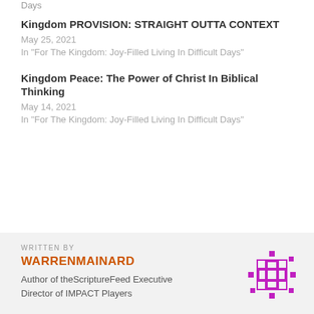Days
Kingdom PROVISION: STRAIGHT OUTTA CONTEXT
May 25, 2021
In "For The Kingdom: Joy-Filled Living In Difficult Days"
Kingdom Peace: The Power of Christ In Biblical Thinking
May 14, 2021
In "For The Kingdom: Joy-Filled Living In Difficult Days"
WRITTEN BY
WARRENMAINARD
Author of theScriptureFeed Executive Director of IMPACT Players